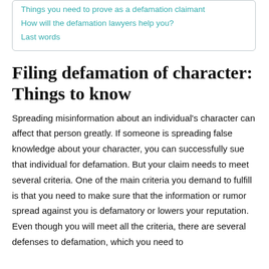Things you need to prove as a defamation claimant
How will the defamation lawyers help you?
Last words
Filing defamation of character: Things to know
Spreading misinformation about an individual's character can affect that person greatly. If someone is spreading false knowledge about your character, you can successfully sue that individual for defamation. But your claim needs to meet several criteria. One of the main criteria you demand to fulfill is that you need to make sure that the information or rumor spread against you is defamatory or lowers your reputation. Even though you will meet all the criteria, there are several defenses to defamation, which you need to